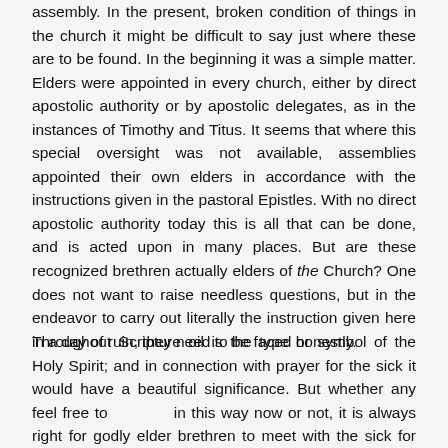assembly. In the present, broken condition of things in the church it might be difficult to say just where these are to be found. In the beginning it was a simple matter. Elders were appointed in every church, either by direct apostolic authority or by apostolic delegates, as in the instances of Timothy and Titus. It seems that where this special oversight was not available, assemblies appointed their own elders in accordance with the instructions given in the pastoral Epistles. With no direct apostolic authority today this is all that can be done, and is acted upon in many places. But are these recognized brethren actually elders of the Church? One does not want to raise needless questions, but in the endeavor to carry out literally the instruction given here in a day of ruin, they need to be faced honestly.
Throughout Scripture oil is the type or symbol of the Holy Spirit; and in connection with prayer for the sick it would have a beautiful significance. But whether any feel free to in this way now or not, it is always right for godly elder brethren to meet with the sick for prayer, and it is just as true now as in